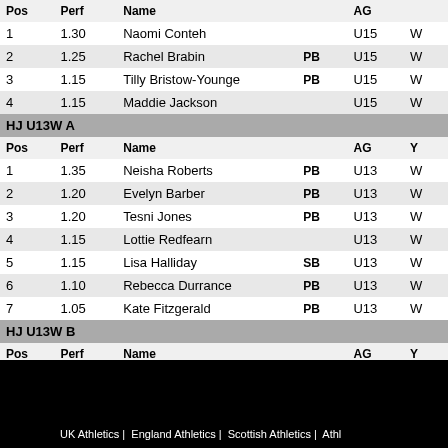| Pos | Perf | Name |  | AG |  |
| --- | --- | --- | --- | --- | --- |
| 1 | 1.30 | Naomi Conteh |  | U15 | W |
| 2 | 1.25 | Rachel Brabin | PB | U15 | W |
| 3 | 1.15 | Tilly Bristow-Younge | PB | U15 | W |
| 4 | 1.15 | Maddie Jackson |  | U15 | W |
HJ U13W A
| Pos | Perf | Name |  | AG | Y |
| --- | --- | --- | --- | --- | --- |
| 1 | 1.35 | Neisha Roberts | PB | U13 | W |
| 2 | 1.20 | Evelyn Barber | PB | U13 | W |
| 3 | 1.20 | Tesni Jones | PB | U13 | W |
| 4 | 1.15 | Lottie Redfearn |  | U13 | W |
| 5 | 1.15 | Lisa Halliday | SB | U13 | W |
| 6 | 1.10 | Rebecca Durrance | PB | U13 | W |
| 7 | 1.05 | Kate Fitzgerald | PB | U13 | W |
HJ U13W B
| Pos | Perf | Name |  | AG | Y |
| --- | --- | --- | --- | --- | --- |
| 1 | 1.10 | Libbie Parry | PB | U13 | W |
| 2 | 1.05 | Eva Ferris | PB | U13 | W |
UK Athletics |  England Athletics |  Scottish Athletics |  Athl